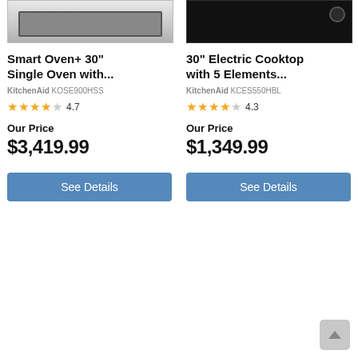[Figure (photo): KitchenAid Smart Oven+ 30" Single Oven product image, stainless steel finish]
[Figure (photo): KitchenAid 30" Electric Cooktop with 5 Elements product image, black finish]
Smart Oven+ 30" Single Oven with...
30" Electric Cooktop with 5 Elements...
KitchenAid KOSE900HSS
KitchenAid KCES550HBL
4.7
4.3
Our Price
Our Price
$3,419.99
$1,349.99
See Details
See Details